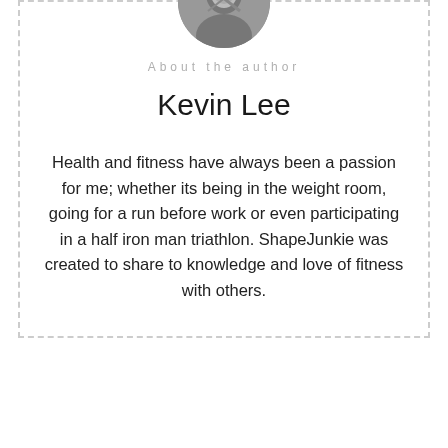[Figure (photo): Circular black and white author photo of Kevin Lee]
About the author
Kevin Lee
Health and fitness have always been a passion for me; whether its being in the weight room, going for a run before work or even participating in a half iron man triathlon. ShapeJunkie was created to share to knowledge and love of fitness with others.